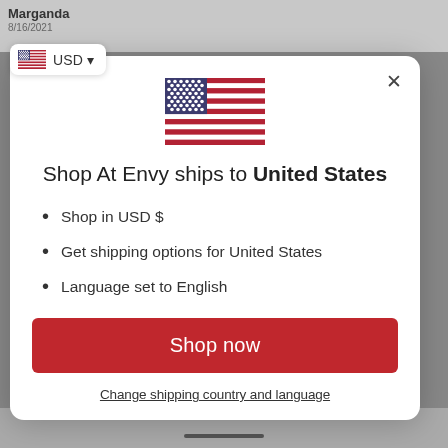[Figure (screenshot): Screenshot of a website modal dialog for Shop At Envy with US flag, shipping info, and Shop now button]
USD ▾
Shop At Envy ships to United States
Shop in USD $
Get shipping options for United States
Language set to English
Shop now
Change shipping country and language